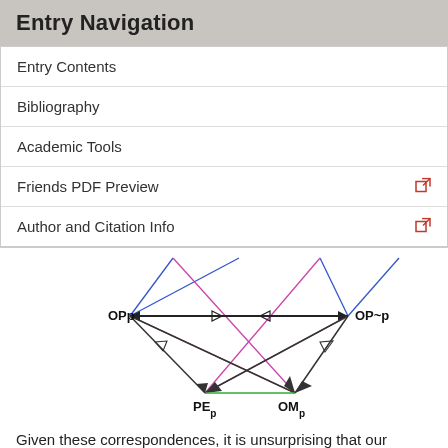Entry Navigation
Entry Contents
Bibliography
Academic Tools
Friends PDF Preview
Author and Citation Info
[Figure (other): Logic diagram showing nodes OPp, OP~p, PEp, OMp connected by black arrows, blue lines, pink/magenta crossing lines, and a green line at the bottom.]
Given these correspondences, it is unsurprising that our